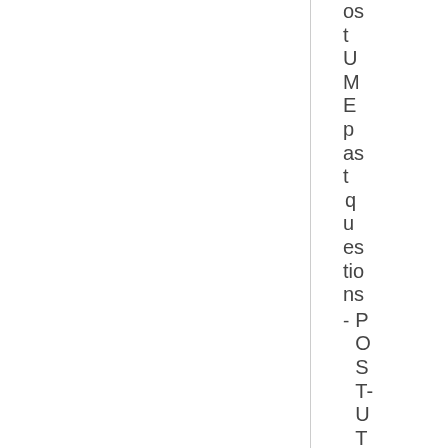os t U M E p as t q u es tio ns - P O S T- U T M E - Pr im